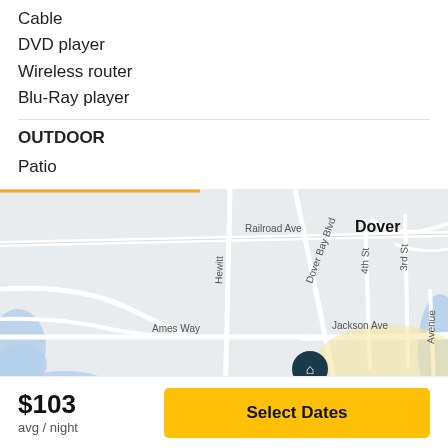Cable
DVD player
Wireless router
Blu-Ray player
OUTDOOR
Patio
[Figure (map): Street map of Dover area showing Railroad Ave, Dover Bay Blvd, 4th St, 3rd St, Hewitt, Ames Way, Jackson Ave, Balto Park, with a home pin marker and yellow highlighted region]
$103
avg / night
Select Dates